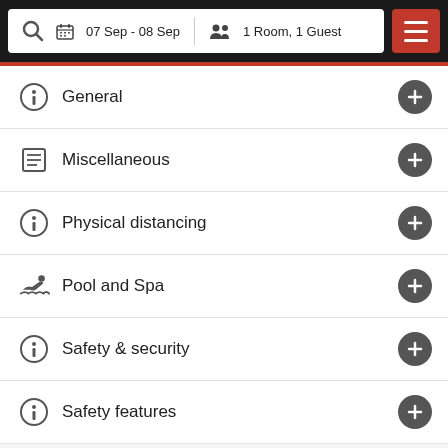[Figure (screenshot): Hotel booking app navigation bar showing search fields: 07 Sep - 08 Sep, 1 Room, 1 Guest, with hamburger menu button]
General
Miscellaneous
Physical distancing
Pool and Spa
Safety & security
Safety features
Services (partially visible)
Search Rooms